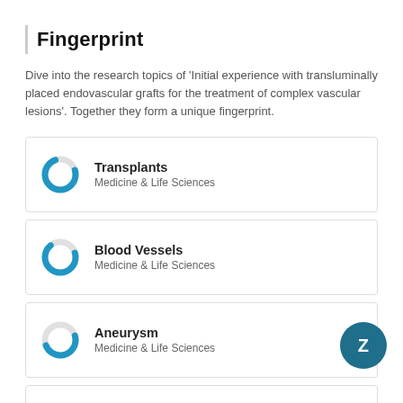Fingerprint
Dive into the research topics of 'Initial experience with transluminally placed endovascular grafts for the treatment of complex vascular lesions'. Together they form a unique fingerprint.
[Figure (donut-chart): Donut chart icon for Transplants — large blue filled arc (about 75%), small gap. Label: Transplants, Medicine & Life Sciences]
[Figure (donut-chart): Donut chart icon for Blood Vessels — large blue filled arc (about 70%), small gap. Label: Blood Vessels, Medicine & Life Sciences]
[Figure (donut-chart): Donut chart icon for Aneurysm — blue arc about 50%, rest light gray. Label: Aneurysm, Medicine & Life Sciences]
[Figure (donut-chart): Donut chart icon for Limb Salvage — blue arc about 35%, rest light gray. Label: Limb Salvage, Medicine & Life Sciences]